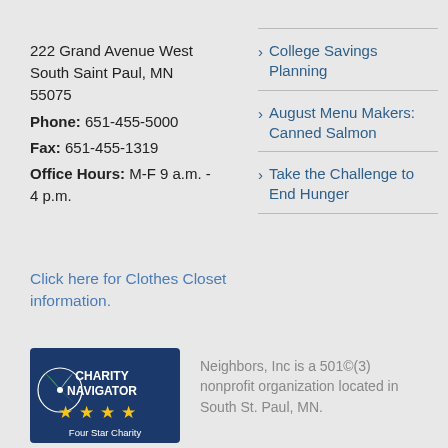222 Grand Avenue West South Saint Paul, MN 55075
Phone: 651-455-5000
Fax: 651-455-1319
Office Hours: M-F 9 a.m. - 4 p.m.
College Savings Planning
August Menu Makers: Canned Salmon
Take the Challenge to End Hunger
Click here for Clothes Closet information.
[Figure (logo): Charity Navigator Four Star Charity badge with dark blue background, compass rose graphic, and four yellow stars]
Neighbors, Inc is a 501©(3) nonprofit organization located in South St. Paul, MN.